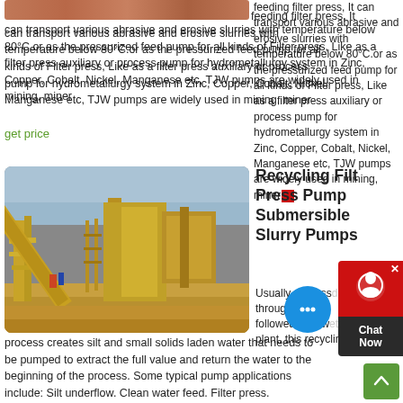[Figure (photo): Partial top strip showing reddish-brown industrial surface or ore material]
feeding filter press, It can transport various abrasive and erosive slurries with temperature below 80°C.or as the pressurized feed pump for all kinds of Filter press, Like as a filter press auxiliary or process pump for hydrometallurgy system in Zinc, Copper, Cobalt, Nickel, Manganese etc, TJW pumps are widely used in mining, miner...
get price
[Figure (photo): Large yellow industrial conveyor belt and processing plant structure at a mining facility under cloudy sky]
Recycling Filter Press Pump Submersible Slurry Pumps
Usually processed through a cru... followed by a w... plant, this recycling process creates silt and small solids laden water that needs to be pumped to extract the full value and return the water to the beginning of the process. Some typical pump applications include: Silt underflow. Clean water feed. Filter press.